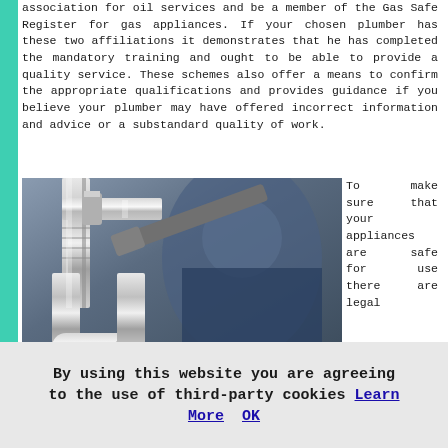association for oil services and be a member of the Gas Safe Register for gas appliances. If your chosen plumber has these two affiliations it demonstrates that he has completed the mandatory training and ought to be able to provide a quality service. These schemes also offer a means to confirm the appropriate qualifications and provides guidance if you believe your plumber may have offered incorrect information and advice or a substandard quality of work.
[Figure (photo): A plumber working on silver/chrome U-bend pipes under a sink, holding a wrench, viewed close-up with the plumber slightly out of focus in the background.]
To make sure that your appliances are safe for use there are legal
requirements for landlords to carry out a safety check of all susceptible equipment. This law doesn't apply to
By using this website you are agreeing to the use of third-party cookies Learn More  OK